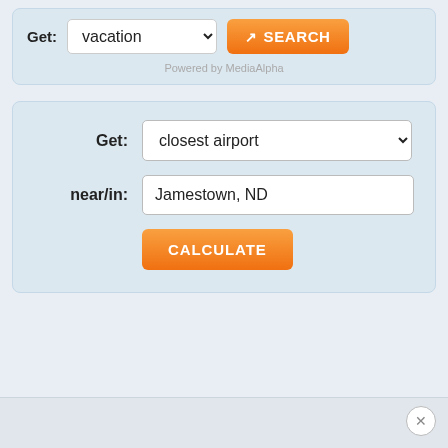[Figure (screenshot): Top widget with Get: vacation dropdown and orange SEARCH button, powered by MediaAlpha]
Powered by MediaAlpha
[Figure (screenshot): Bottom widget form with Get: closest airport dropdown, near/in: Jamestown, ND text input, and orange CALCULATE button]